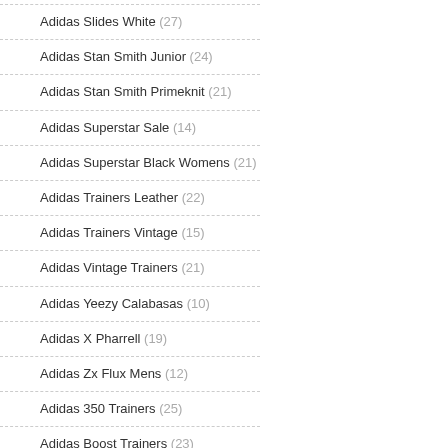Adidas Slides White (27)
Adidas Stan Smith Junior (24)
Adidas Stan Smith Primeknit (21)
Adidas Superstar Sale (14)
Adidas Superstar Black Womens (21)
Adidas Trainers Leather (22)
Adidas Trainers Vintage (15)
Adidas Vintage Trainers (21)
Adidas Yeezy Calabasas (10)
Adidas X Pharrell (19)
Adidas Zx Flux Mens (12)
Adidas 350 Trainers (25)
Adidas Boost Trainers (23)
Adidas Continental 80 Off White (15)
Adidas Gazelle Trainers Mens (21)